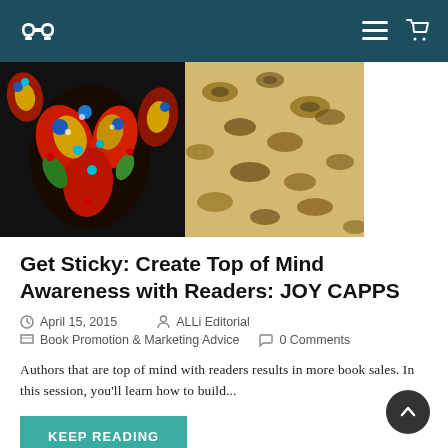Navigation bar with logo, menu icon, and cart icon
[Figure (photo): Colorful paisley and leopard print fabric patterns photographed up close, vibrant colors including red, blue, gold, green on dark background]
Get Sticky: Create Top of Mind Awareness with Readers: JOY CAPPS
April 15, 2015   ALLi Editorial   Book Promotion & Marketing Advice   0 Comments
Authors that are top of mind with readers results in more book sales. In this session, you'll learn how to build...
KEEP READING